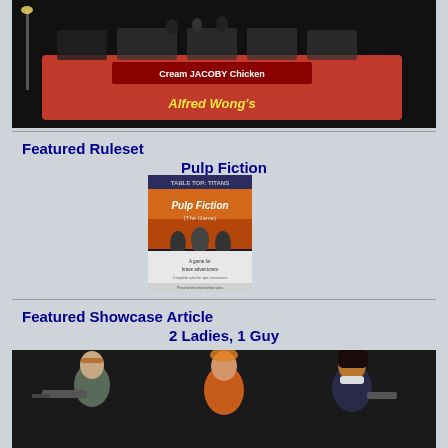[Figure (photo): Top portion of page showing a dark-themed image of a decorated double-decker bus with text overlays including 'Cream Jacoby Chicken' and 'Alfred Wong's']
Featured Ruleset
Pulp Fiction
[Figure (photo): Cover image of 'Table Top Titans' game book showing Pulp Fiction The Game with action figures on cover]
Featured Showcase Article
2 Ladies, 1 Guy
[Figure (photo): Three painted miniature figures of two female and one male characters with weapons, photographed against a dark background]